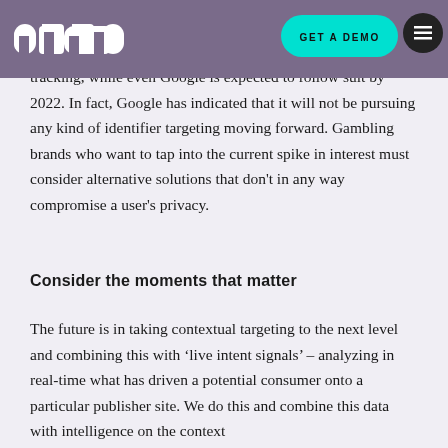nano | GET A DEMO | menu
In response to regulatory and consumer concern, browsers such as Safari and Firefox have removed third party cookie tracking, while even Google is expected to follow suit by 2022. In fact, Google has indicated that it will not be pursuing any kind of identifier targeting moving forward. Gambling brands who want to tap into the current spike in interest must consider alternative solutions that don't in any way compromise a user's privacy.
Consider the moments that matter
The future is in taking contextual targeting to the next level and combining this with ‘live intent signals’ – analyzing in real-time what has driven a potential consumer onto a particular publisher site. We do this and combine this data with intelligence on the context